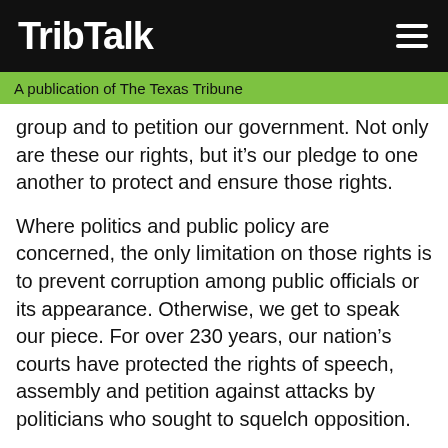TribTalk
A publication of The Texas Tribune
group and to petition our government. Not only are these our rights, but it’s our pledge to one another to protect and ensure those rights.
Where politics and public policy are concerned, the only limitation on those rights is to prevent corruption among public officials or its appearance. Otherwise, we get to speak our piece. For over 230 years, our nation’s courts have protected the rights of speech, assembly and petition against attacks by politicians who sought to squelch opposition.
Fifty years ago, the state of Alabama wanted to prevent the NAACP from helping citizens to vote. Alabama attempted to force the NAACP to produce its membership lists, thereby claiming a right to intimidation…